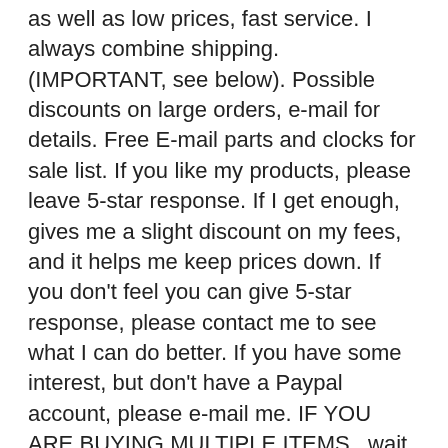as well as low prices, fast service. I always combine shipping. (IMPORTANT, see below). Possible discounts on large orders, e-mail for details. Free E-mail parts and clocks for sale list. If you like my products, please leave 5-star response. If I get enough, gives me a slight discount on my fees, and it helps me keep prices down. If you don't feel you can give 5-star response, please contact me to see what I can do better. If you have some interest, but don't have a Paypal account, please e-mail me. IF YOU ARE BUYING MULTIPLE ITEMS...wait for me to send you an invoice. If you pay before I send you an invoice you may not get combined shipping, as will just add the shipping and send you an invoice. I have been refunding shipping overpayments automatically, but my sales volume prevents this now. Occasionally, but rarely, I will run out of an item. In these rare occasions, ilt takes normally 10 days to get re-supply. Please keep this in mind. Please e-mail with any questions.